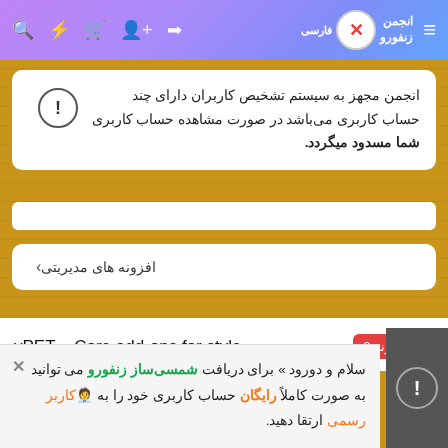انجمن زنفورو فارسی (header navigation bar)
انجمن مجهز به سیستم تشخیص کاربران دارای چند حساب کاربری می‌باشد در صورت مشاهده حساب کاربری شما مسدود میگردد.
افزونه های مدیریتی
vPET – Core add-ons for style افزونه 2
سلام و دورود » برای دریافت شمسی‌ساز زنفورو می توانید به صورت کاملاً رایگان حساب کاربری خود را به 🧑‍💻 کاربر رسمی ارتقا دهید.